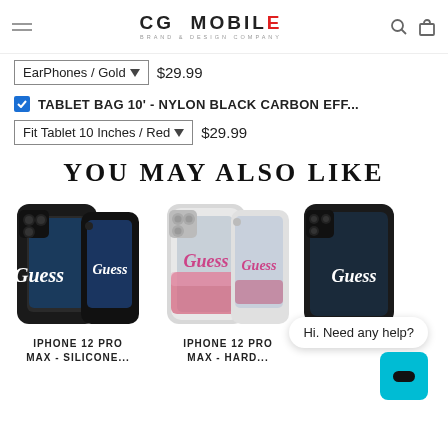CG MOBILE BRAND & DESIGN COMPANY
EarPhones / Gold   $29.99
TABLET BAG 10' - NYLON BLACK CARBON EFF...
Fit Tablet 10 Inches / Red   $29.99
YOU MAY ALSO LIKE
[Figure (photo): Black Guess silicone iPhone 12 Pro Max case with white Guess script logo]
IPHONE 12 PRO MAX - SILICONE...
[Figure (photo): Clear Guess iPhone 12 Pro Max hard case with pink glitter and Guess script]
IPHONE 12 PRO MAX - HARD...
[Figure (photo): Black Guess iPhone 12 Pro case (partially visible)]
PRO
Hi. Need any help?